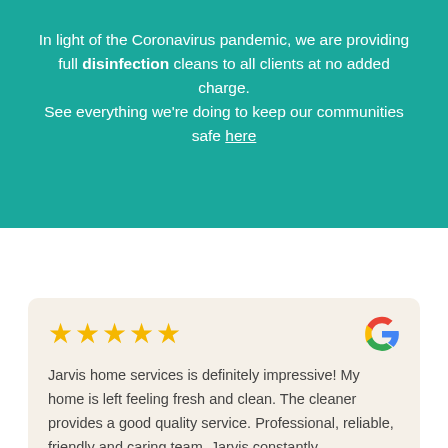In light of the Coronavirus pandemic, we are providing full disinfection cleans to all clients at no added charge. See everything we're doing to keep our communities safe here
[Figure (other): Five gold star rating icons followed by Google logo (G icon in red, blue, yellow, green)]
Jarvis home services is definitely impressive! My home is left feeling fresh and clean. The cleaner provides a good quality service. Professional, reliable, friendly and caring team. Jarvis constantly communicates with you